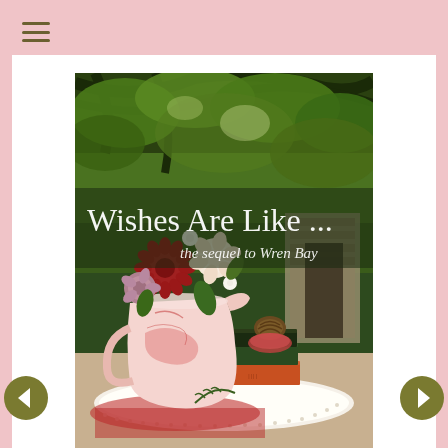[Figure (illustration): Hamburger menu icon (three horizontal lines) in olive/dark tan color at top left of pink page background]
[Figure (photo): Book cover for 'Wishes Are Like ... the sequel to Wren Bay'. Shows an outdoor garden scene with trees, a pink/red transferware pitcher filled with mixed flowers (roses, dahlias), stacked books (orange, dark green), a pine cone, and a lace-edged white table. Title text 'Wishes Are Like ...' in white serif font overlaid on the upper image, with 'the sequel to Wren Bay' in smaller white italic text below.]
[Figure (illustration): Left navigation arrow button — olive green circle with white left-pointing arrow]
[Figure (illustration): Right navigation arrow button — olive green circle with white right-pointing arrow]